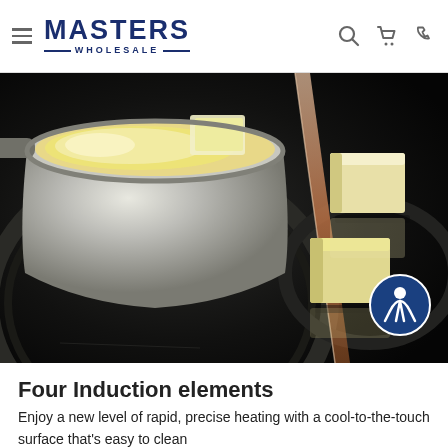Masters Wholesale — navigation header with hamburger menu, logo, search, cart, and phone icons
[Figure (photo): Close-up photo of an induction cooktop showing a stainless steel pan with melting butter on the left side, and cubes of butter on the right side of the dark glass surface. A cross-section cut-away divider shows the cooktop surface. An accessibility icon button is overlaid in the bottom right.]
Four Induction elements
Enjoy a new level of rapid, precise heating with a cool-to-the-touch surface that's easy to clean